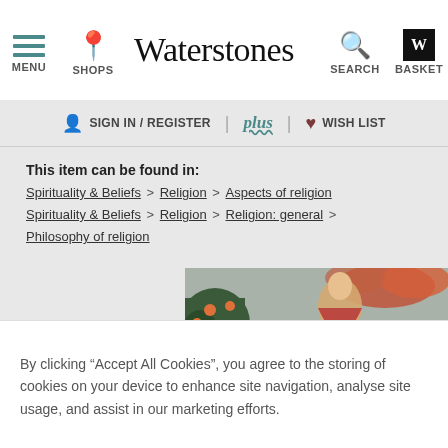MENU | SHOPS | Waterstones | SEARCH | BASKET
SIGN IN / REGISTER | plus | WISH LIST
This item can be found in:
Spirituality & Beliefs > Religion > Aspects of religion
Spirituality & Beliefs > Religion > Religion: general > Philosophy of religion
[Figure (illustration): Book cover of 'The Face of God' showing a classical religious painting with text overlay in gold serif font]
By clicking “Accept All Cookies”, you agree to the storing of cookies on your device to enhance site navigation, analyse site usage, and assist in our marketing efforts.